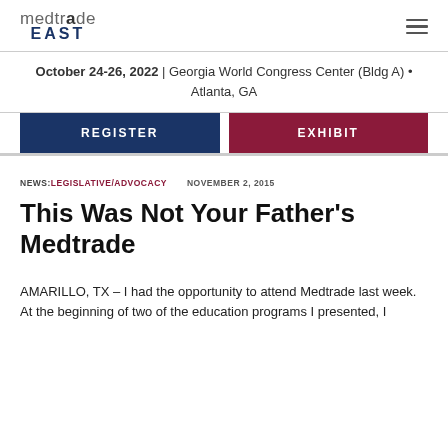medtrade EAST
October 24-26, 2022 | Georgia World Congress Center (Bldg A) • Atlanta, GA
REGISTER
EXHIBIT
NEWS: LEGISLATIVE/ADVOCACY    NOVEMBER 2, 2015
This Was Not Your Father's Medtrade
AMARILLO, TX – I had the opportunity to attend Medtrade last week. At the beginning of two of the education programs I presented, I